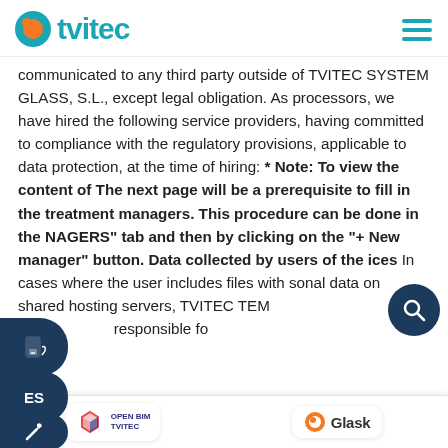[Figure (logo): tvitec logo with orange circle icon and teal text, hamburger menu icon top right]
communicated to any third party outside of TVITEC SYSTEM GLASS, S.L., except legal obligation. As processors, we have hired the following service providers, having committed to compliance with the regulatory provisions, applicable to data protection, at the time of hiring: * Note: To view the content of The next page will be a prerequisite to fill in the treatment managers. This procedure can be done in the NAGERS” tab and then by clicking on the “+ New manager” button. Data collected by users of the ices In cases where the user includes files with sonal data on shared hosting servers, TVITEC TEM GL responsible fo
[Figure (logo): Open BIM TVITEC logo badge at bottom center]
[Figure (logo): Glask logo badge at bottom right]